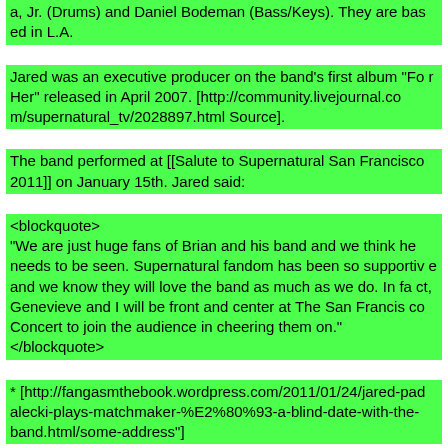a, Jr. (Drums) and Daniel Bodeman (Bass/Keys). They are based in L.A.
Jared was an executive producer on the band's first album "For Her" released in April 2007. [http://community.livejournal.com/supernatural_tv/2028897.html Source].
The band performed at [[Salute to Supernatural San Francisco 2011]] on January 15th. Jared said:
<blockquote>
"We are just huge fans of Brian and his band and we think he needs to be seen. Supernatural fandom has been so supportive and we know they will love the band as much as we do. In fact, Genevieve and I will be front and center at The San Francisco Concert to join the audience in cheering them on."
</blockquote>
* [http://fangasmthebook.wordpress.com/2011/01/24/jared-padalecki-plays-matchmaker-%E2%80%93-a-blind-date-with-the-band.html/some-more-source-address]